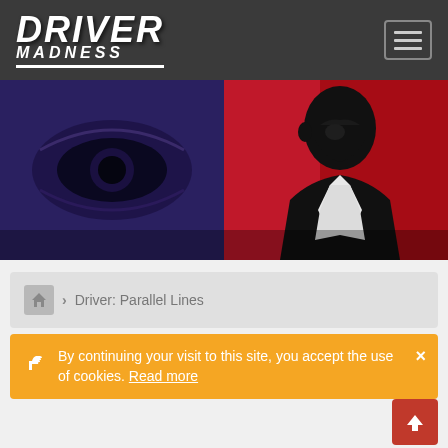Driver Madness
[Figure (illustration): Hero banner image showing a stylized noir character silhouette in black on red background, with a close-up of an eye on the blue-purple left half]
Driver: Parallel Lines
By continuing your visit to this site, you accept the use of cookies. Read more
Experiments